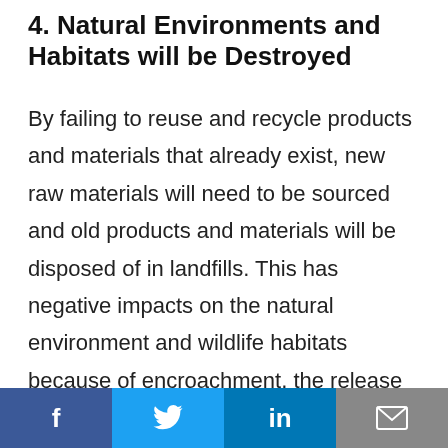4. Natural Environments and Habitats will be Destroyed
By failing to reuse and recycle products and materials that already exist, new raw materials will need to be sourced and old products and materials will be disposed of in landfills. This has negative impacts on the natural environment and wildlife habitats because of encroachment, the release of toxins and leaching, and resource extraction.
[Figure (infographic): Social media share bar with Facebook, Twitter, LinkedIn, and email icons]